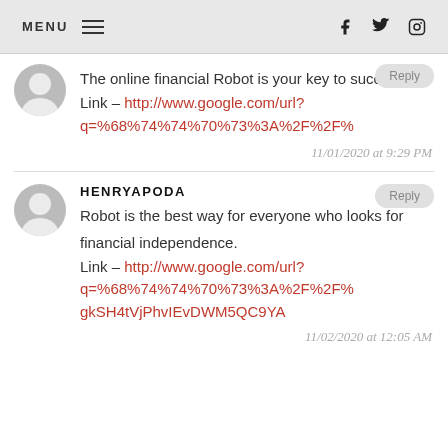MENU  f  twitter  instagram
The online financial Robot is your key to success. Link – http://www.google.com/url?q=%68%74%74%70%73%3A%2F%2F%
11/01/2020 at 9:29 PM
HENRYAPODA
Robot is the best way for everyone who looks for financial independence. Link – http://www.google.com/url?q=%68%74%74%70%73%3A%2F%2F% gkSH4tVjPhvIEvDWM5QC9YA
11/02/2020 at 12:05 AM